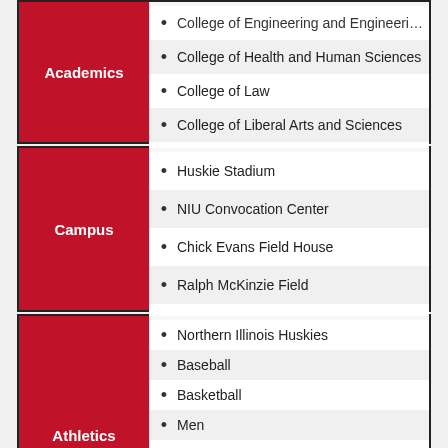Academics
College of Engineering and Engineering Technology
College of Health and Human Sciences
College of Law
College of Liberal Arts and Sciences
College of Visual and Performing Arts
Campus
Huskie Stadium
NIU Convocation Center
Chick Evans Field House
Ralph McKinzie Field
NIU Soccer and Track & Field Complex
Athletics
Northern Illinois Huskies
Baseball
Basketball
Men
Women
Football
Gymnastics
Soccer